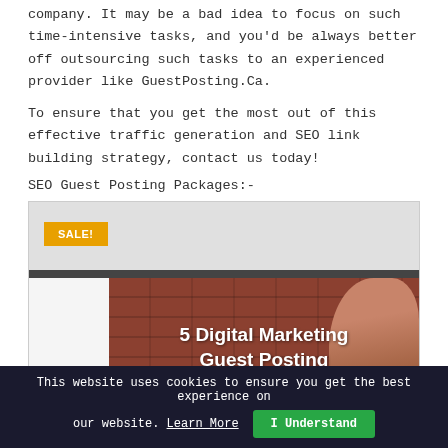company. It may be a bad idea to focus on such time-intensive tasks, and you'd be always better off outsourcing such tasks to an experienced provider like GuestPosting.Ca.
To ensure that you get the most out of this effective traffic generation and SEO link building strategy, contact us today!
SEO Guest Posting Packages:-
[Figure (illustration): Product card image with SALE! badge, gray header bar, dark divider bar, brick wall background with a person, and bold white text reading '5 Digital Marketing Guest Posting']
This website uses cookies to ensure you get the best experience on our website. Learn More  I Understand